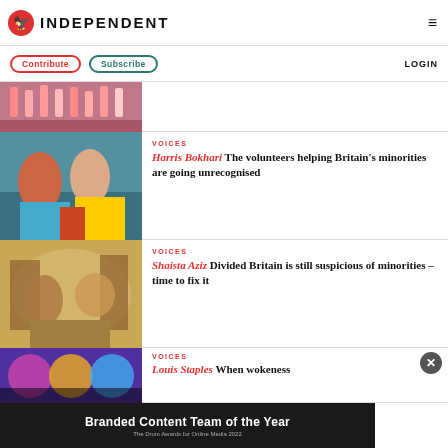INDEPENDENT
Contribute  Subscribe  LOGIN
[Figure (photo): Partial view of candles or flowers, top of page]
VOICES
Harris Bokhari The volunteers helping Britain's minorities are going unrecognised
[Figure (photo): People handing out teal/blue boxes, volunteers scene]
VOICES
Shaista Aziz Divided Britain is still suspicious of minorities – time to fix it
[Figure (photo): Historical map illustration with figures]
VOICES
Louis Staples When wokeness
[Figure (photo): Concert/performance photo with colourful lighting]
Branded Content Team of the Year
The Drum Awards for Online Media 2022